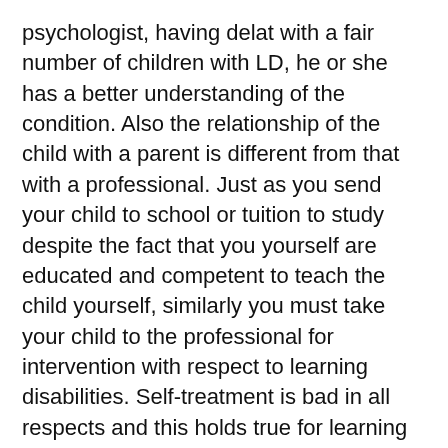psychologist, having delat with a fair number of children with LD, he or she has a better understanding of the condition. Also the relationship of the child with a parent is different from that with a professional. Just as you send your child to school or tuition to study despite the fact that you yourself are educated and competent to teach the child yourself, similarly you must take your child to the professional for intervention with respect to learning disabilities. Self-treatment is bad in all respects and this holds true for learning disabilities too!
As a parent if you suspect your child has a learning difficulty, don't panic. Deal with the situation in a calm and efficient manner. Remember your child will take his cue from you. Meanwhile BYN is right here to help you with more informatoin. Write to us at contact@blogyourniches.com and join us on Facebook.
Tagged academicsautismchilddistance learningdyslexiaEDUCATIONfailhigh schoolhome schoolhomeschoolinglearning at homelearning